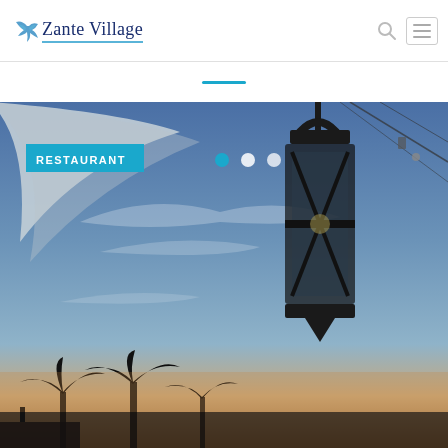Zante Village
[Figure (photo): Outdoor restaurant scene at sunset/dusk showing a hanging black lantern in the foreground, palm trees silhouetted in the background, and a white awning or sail visible in the upper left. A 'RESTAURANT' label overlay appears in the upper left of the image. Three carousel navigation dots appear in the upper right area of the image.]